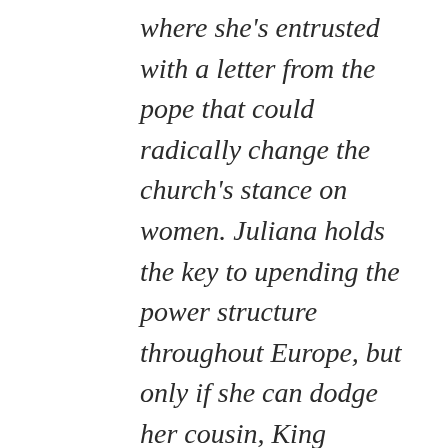where she's entrusted with a letter from the pope that could radically change the church's stance on women. Juliana holds the key to upending the power structure throughout Europe, but only if she can dodge her cousin, King Edward I of England, and his plans to marry her off as political leverage.

Edward sets Sir Robert